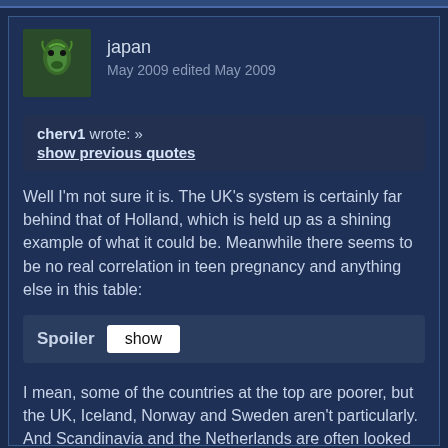japan
May 2009 edited May 2009
cherv1 wrote: »
show previous quotes
Well I'm not sure it is. The UK's system is certainly far behind that of Holland, which is held up as a shining example of what it could be. Meanwhile there seems to be no real correlation in teen pregnancy and anything else in this table:
Spoiler show
I mean, some of the countries at the top are poorer, but the UK, Iceland, Norway and Sweden aren't particularly. And Scandinavia and the Netherlands are often looked at as very left wing progressive countries, yet only one of them has good figures. And other than the Netherlands, the three best countries are the ones